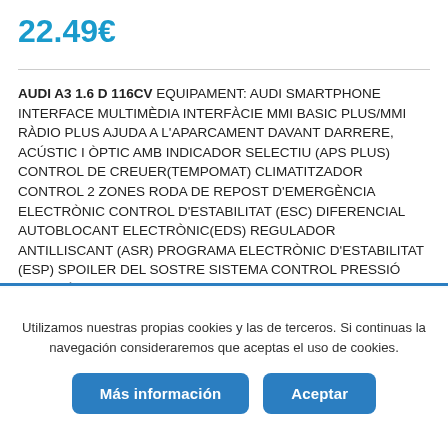22.49€
AUDI A3 1.6 D 116CV EQUIPAMENT: AUDI SMARTPHONE INTERFACE MULTIMÈDIA INTERFÀCIE MMI BASIC PLUS/MMI RÀDIO PLUS AJUDA A L'APARCAMENT DAVANT DARRERE, ACÚSTIC I ÒPTIC AMB INDICADOR SELECTIU (APS PLUS) CONTROL DE CREUER(TEMPOMAT) CLIMATITZADOR CONTROL 2 ZONES RODA DE REPOST D'EMERGÈNCIA ELECTRÒNIC CONTROL D'ESTABILITAT (ESC) DIFERENCIAL AUTOBLOCANT ELECTRÒNIC(EDS) REGULADOR ANTILLISCANT (ASR) PROGRAMA ELECTRÒNIC D'ESTABILITAT (ESP) SPOILER DEL SOSTRE SISTEMA CONTROL PRESSIÓ PNEUMÀTICS RETROBISOR INTERIOR AMB SISTEMA ANTILLUMS FRE D'ESTACIONAMENT
Utilizamos nuestras propias cookies y las de terceros. Si continuas la navegación consideraremos que aceptas el uso de cookies.
Más información
Aceptar